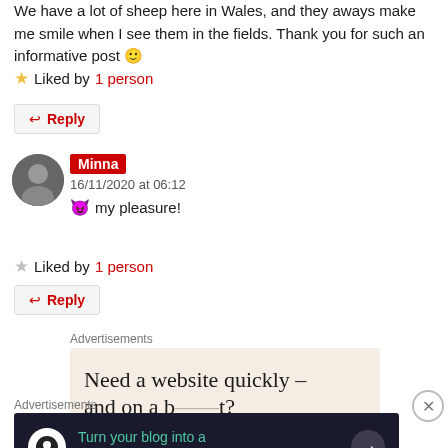We have a lot of sheep here in Wales, and they aways make me smile when I see them in the fields. Thank you for such an informative post 🙂
★ Liked by 1 person
↩ Reply
Minna — 16/11/2020 at 06:12 — 😈 my pleasure!
★ Liked by 1 person
↩ Reply
Advertisements
[Figure (other): Advertisement banner: Need a website quickly – and on a budget?]
Advertisements
[Figure (other): Advertisement banner: Turn your blog into a money-making online course. with arrow button]